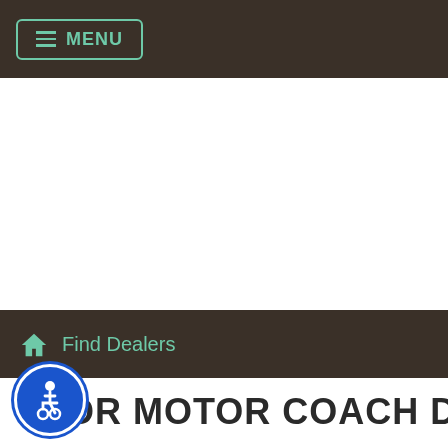MENU
Find Dealers
THOR MOTOR COACH DEALERS
[Figure (illustration): Accessibility button icon — blue circle with white wheelchair user symbol]